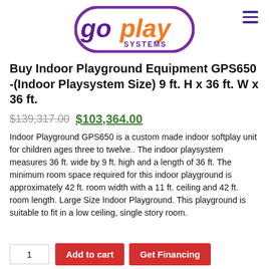[Figure (logo): Go Play Systems logo: purple oval border with 'go' in purple script, 'play' in orange bold, and 'SYSTEMS' in purple small caps underneath]
Buy Indoor Playground Equipment GPS650 -(Indoor Playsystem Size) 9 ft. H x 36 ft. W x 36 ft.
$139,317.00  $103,364.00
Indoor Playground GPS650 is a custom made indoor softplay unit for children ages three to twelve.. The indoor playsystem measures 36 ft. wide by 9 ft. high and a length of 36 ft. The minimum room space required for this indoor playground is approximately 42 ft. room width with a 11 ft. ceiling and 42 ft. room length. Large Size Indoor Playground. This playground is suitable to fit in a low ceiling, single story room.
1   Add to cart   Get Financing